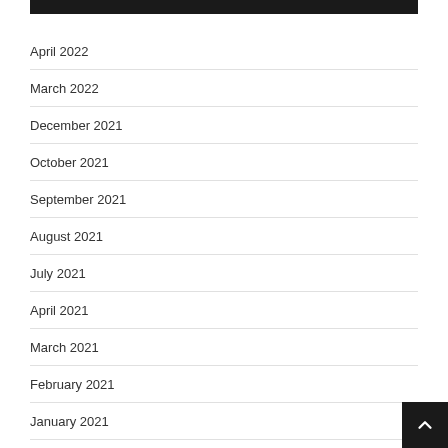April 2022
March 2022
December 2021
October 2021
September 2021
August 2021
July 2021
April 2021
March 2021
February 2021
January 2021
December 2020